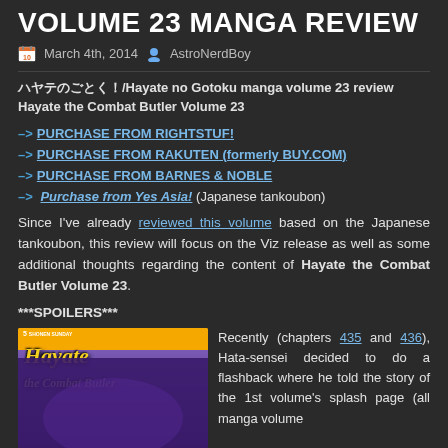VOLUME 23 MANGA REVIEW
March 4th, 2014  AstroNerdBoy
ハヤテのごとく！/Hayate no Gotoku manga volume 23 review
Hayate the Combat Butler Volume 23
–> PURCHASE FROM RIGHTSTUF!
–> PURCHASE FROM RAKUTEN (formerly BUY.COM)
–> PURCHASE FROM BARNES & NOBLE
–>  Purchase from Yes Asia! (Japanese tankoubon)
Since I've already reviewed this volume based on the Japanese tankoubon, this review will focus on the Viz release as well as some additional thoughts regarding the content of Hayate the Combat Butler Volume 23.
***SPOILERS***
[Figure (photo): Cover of Hayate the Combat Butler Volume 23 manga with orange header, purple/dark background and stylized title text]
Recently (chapters 435 and 436), Hata-sensei decided to do a flashback where he told the story of the 1st volume's splash page (all manga volume